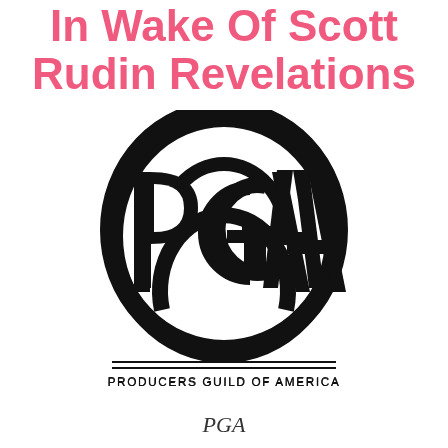In Wake Of Scott Rudin Revelations
[Figure (logo): Producers Guild of America (PGA) official logo — oval arch shape with letters P, G, A inside, and text PRODUCERS GUILD OF AMERICA below with horizontal rules]
PGA